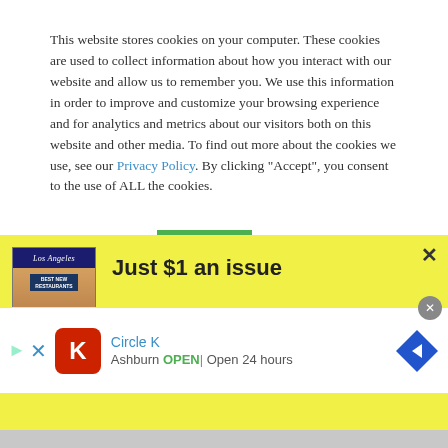This website stores cookies on your computer. These cookies are used to collect information about how you interact with our website and allow us to remember you. We use this information in order to improve and customize your browsing experience and for analytics and metrics about our visitors both on this website and other media. To find out more about the cookies we use, see our Privacy Policy. By clicking “Accept”, you consent to the use of ALL the cookies.
Cookie settings   ACCEPT
[Figure (screenshot): Yellow promotional modal overlay for a magazine subscription: shows Los Angeles magazine cover on left, headline 'Just $1 an issue', body text 'For the latest in local dining, arts and entertainment, a...' and a close X button top right]
[Figure (screenshot): Advertisement banner for Circle K showing logo, brand name 'Circle K', location 'Ashburn', status 'OPEN | Open 24 hours', navigation arrow icon, close button, and play/cross controls]